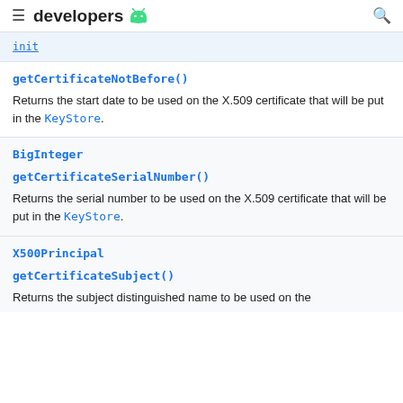developers
init
getCertificateNotBefore()
Returns the start date to be used on the X.509 certificate that will be put in the KeyStore.
BigInteger
getCertificateSerialNumber()
Returns the serial number to be used on the X.509 certificate that will be put in the KeyStore.
X500Principal
getCertificateSubject()
Returns the subject distinguished name to be used on the